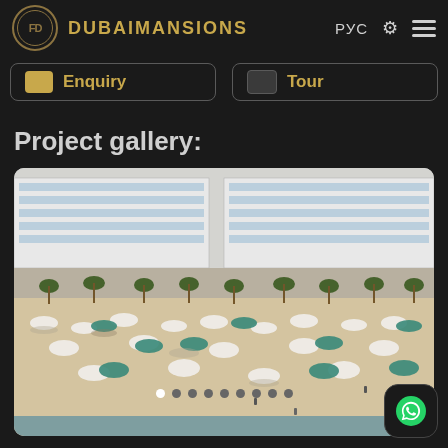DUBAIMANSIONS РУС
Enquiry
Tour
Project gallery:
[Figure (photo): Aerial view of a luxury beach resort development in Dubai, showing tall white hotel/residential towers with balconies, a palm-tree lined promenade, and a sandy beach with colourful (white and teal) beach umbrellas, sun loungers and people scattered across the sand and pool area.]
● ○ ○ ○ ○ ○ ○ ○ ○